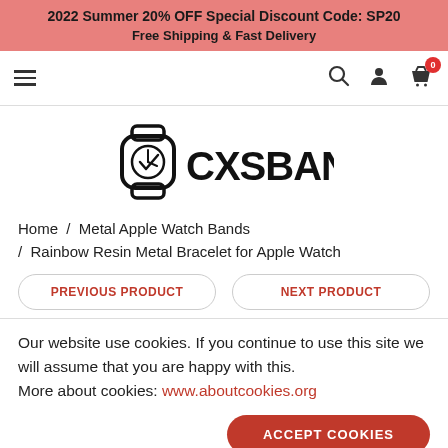2022 Summer 20% OFF Special Discount Code: SP20
Free Shipping & Fast Delivery
[Figure (logo): CXSBANDS logo with a watch icon to the left of the text]
Home / Metal Apple Watch Bands / Rainbow Resin Metal Bracelet for Apple Watch
PREVIOUS PRODUCT   NEXT PRODUCT
Our website use cookies. If you continue to use this site we will assume that you are happy with this.
More about cookies: www.aboutcookies.org
ACCEPT COOKIES